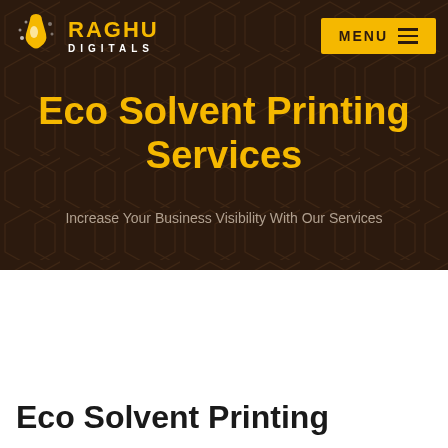[Figure (logo): Raghu Digitals logo with drop/ink icon and yellow RAGHU text, white DIGITALS text]
[Figure (other): Yellow MENU button with hamburger icon lines]
Eco Solvent Printing Services
Increase Your Business Visibility With Our Services
Raghu Digitals    Signage Board & Digital Printing Services
Eco Solvent Printing Services
[Figure (logo): WhatsApp icon circle button in dark brown]
Eco Solvent Printing